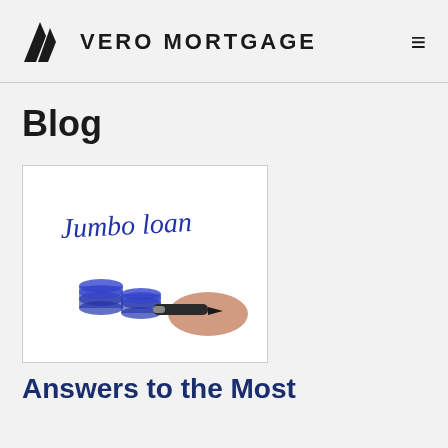VM VERO MORTGAGE
Blog
[Figure (photo): A hand writing 'Jumbo Loan' on a whiteboard with a marker, with two stacks of coins illustrated in blue ink below the text.]
Answers to the Most